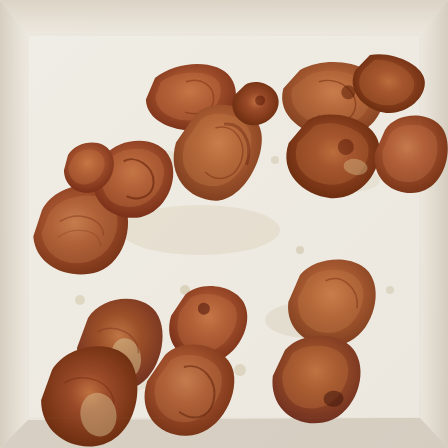[Figure (photo): Overhead view of browned/seared pieces of meat (pork or chicken) arranged on a white parchment-lined baking tray. The meat pieces are irregular in shape, golden to dark brown, scattered across the tray with grease and drippings visible on the parchment paper.]